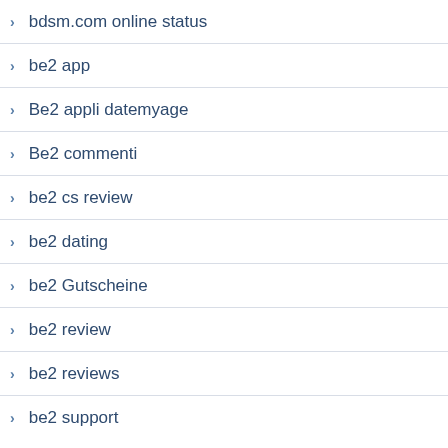bdsm.com online status
be2 app
Be2 appli datemyage
Be2 commenti
be2 cs review
be2 dating
be2 Gutscheine
be2 review
be2 reviews
be2 support